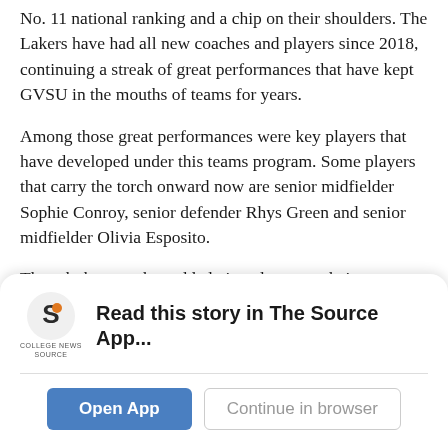No. 11 national ranking and a chip on their shoulders. The Lakers have had all new coaches and players since 2018, continuing a streak of great performances that have kept GVSU in the mouths of teams for years.
Among those great performances were key players that have developed under this teams program. Some players that carry the torch onward now are senior midfielder Sophie Conroy, senior defender Rhys Green and senior midfielder Olivia Esposito.
Though the team has added nine players to their roster over since November, coach Mackenzie Lawler was quick to praise Esposito as a player who she has watched
[Figure (logo): College News Source logo — stylized S icon in dark/orange above text reading COLLEGE NEWS SOURCE]
Read this story in The Source App...
Open App
Continue in browser